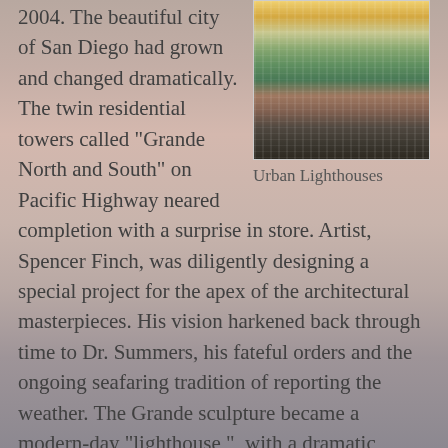2004. The beautiful city of San Diego had grown and changed dramatically. The twin residential towers called “Grande North and South” on Pacific Highway neared completion with a surprise in store. Artist, Spencer Finch, was diligently designing a special project for the apex of the architectural masterpieces. His vision harkened back through time to Dr. Summers, his fateful orders and the ongoing seafaring tradition of reporting the weather. The Grande sculpture became a modern-day “lighthouse,”  with a dramatic effect, visible for miles around.
[Figure (photo): Aerial photo of twin residential skyscraper towers (Grande North and South) on Pacific Highway in San Diego, photographed at dusk/sunset with warm golden lighting on the glass facades.]
Urban Lighthouses
In his own words, Finch described his inspiration and
[Figure (photo): Photo of a dramatic pink and coral sunset sky with clouds, used as a background or illustration element.]